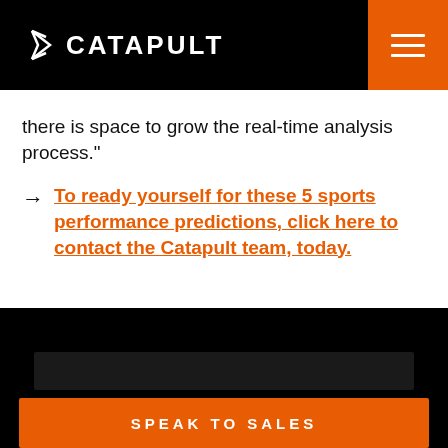CATAPULT
there is space to grow the real-time analysis process."
→ To ready yourself for these 5 sports performance predictions, click here to contact the Catapult team, today.
SPEAK TO SALES